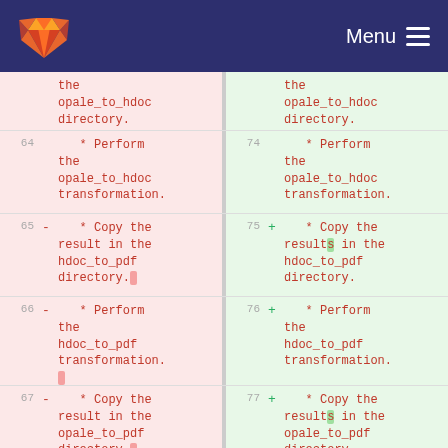GitLab logo | Menu
| old line | sign | old code | new line | sign | new code |
| --- | --- | --- | --- | --- | --- |
|  |  | the opale_to_hdoc directory. |  |  | the opale_to_hdoc directory. |
| 64 | - | * Perform the opale_to_hdoc transformation. | 74 |  | * Perform the opale_to_hdoc transformation. |
| 65 | - | * Copy the result in the hdoc_to_pdf directory. | 75 | + | * Copy the results in the hdoc_to_pdf directory. |
| 66 | - | * Perform the hdoc_to_pdf transformation. | 76 | + | * Perform the hdoc_to_pdf transformation. |
| 67 | - | * Copy the result in the opale_to_pdf directory. | 77 | + | * Copy the results in the opale_to_pdf directory. |